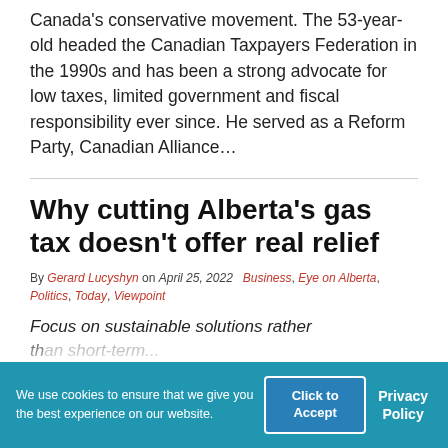Canada's conservative movement. The 53-year-old headed the Canadian Taxpayers Federation in the 1990s and has been a strong advocate for low taxes, limited government and fiscal responsibility ever since. He served as a Reform Party, Canadian Alliance...
Why cutting Alberta's gas tax doesn't offer real relief
By Gerard Lucyshyn on April 25, 2022  Business, Eye on Alberta, Politics, Today, Viewpoint
Focus on sustainable solutions rather than short-term...
We use cookies to ensure that we give you the best experience on our website.